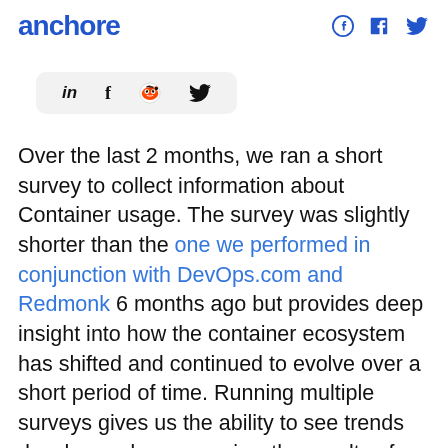anchore
[Figure (other): Social share bar with LinkedIn (in), Facebook (f), Reddit, and Twitter icons on a light grey rounded background]
Over the last 2 months, we ran a short survey to collect information about Container usage. The survey was slightly shorter than the one we performed in conjunction with DevOps.com and Redmonk 6 months ago but provides deep insight into how the container ecosystem has shifted and continued to evolve over a short period of time. Running multiple surveys gives us the ability to see trends develop and as we review the results of each survey we think of